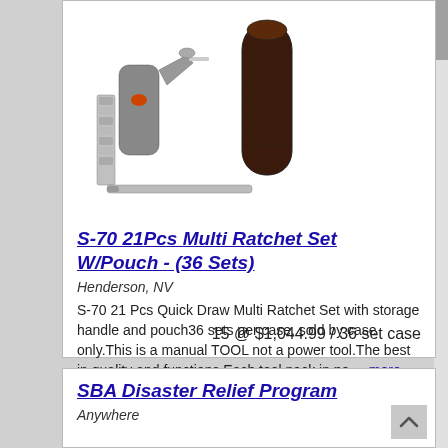[Figure (photo): Product photo of S-70 21Pcs Multi Ratchet Set components including screwdriver handle with bit set and grip handle]
S-70 21Pcs Multi Ratchet Set W/Pouch - (36 Sets)
Henderson, NV
S-70 21 Pcs Quick Draw Multi Ratchet Set with storage handle and pouch36 sets per case, sold by case only.This is a manual TOOL not a power tool.The best in quality and functions.Each tool pack in po ... more
15 @ $1,044.99 / 36 set case
SBA Disaster Relief Program
Anywhere